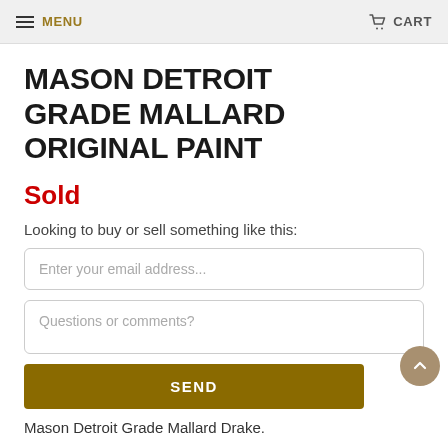MENU  CART
MASON DETROIT GRADE MALLARD ORIGINAL PAINT
Sold
Looking to buy or sell something like this:
Enter your email address...
Questions or comments?
SEND
Mason Detroit Grade Mallard Drake.